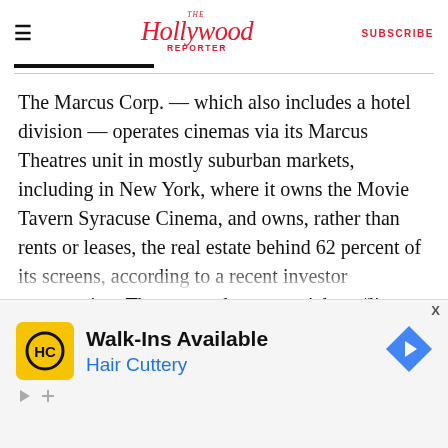The Hollywood Reporter | SUBSCRIBE
The Marcus Corp. — which also includes a hotel division — operates cinemas via its Marcus Theatres unit in mostly suburban markets, including in New York, where it owns the Movie Tavern Syracuse Cinema, and owns, rather than rents or leases, the real estate behind 62 percent of its screens, according to a recent investor presentation. That means less potential conflict when negotiating rent or lease abatement with landlords...
[Figure (screenshot): Advertisement for Hair Cuttery: Walk-Ins Available, Hair Cuttery, with HC logo on yellow background and navigation arrow icon]